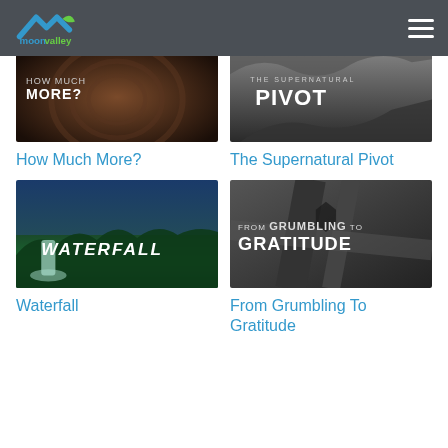moonvalley
[Figure (screenshot): Thumbnail for 'How Much More?' – dark brown architectural background with text 'HOW MUCH MORE?' in white]
[Figure (screenshot): Thumbnail for 'The Supernatural Pivot' – black and white rocky canyon background with text 'THE SUPERNATURAL PIVOT']
How Much More?
The Supernatural Pivot
[Figure (screenshot): Thumbnail for 'Waterfall' – green tropical jungle with waterfall, text 'WATERFALL' in white]
[Figure (screenshot): Thumbnail for 'From Grumbling To Gratitude' – aerial city road view with text 'FROM GRUMBLING TO GRATITUDE']
Waterfall
From Grumbling To Gratitude